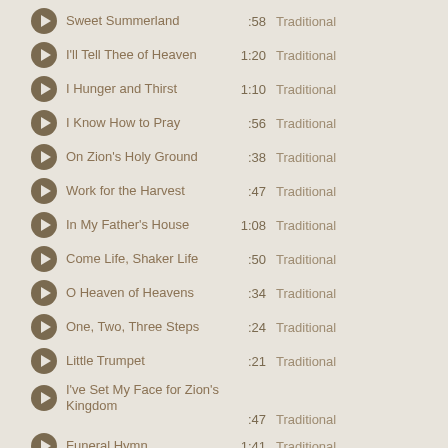Sweet Summerland :58 Traditional
I'll Tell Thee of Heaven 1:20 Traditional
I Hunger and Thirst 1:10 Traditional
I Know How to Pray :56 Traditional
On Zion's Holy Ground :38 Traditional
Work for the Harvest :47 Traditional
In My Father's House 1:08 Traditional
Come Life, Shaker Life :50 Traditional
O Heaven of Heavens :34 Traditional
One, Two, Three Steps :24 Traditional
Little Trumpet :21 Traditional
I've Set My Face for Zion's Kingdom :47 Traditional
Funeral Hymn 1:41 Traditional
The Simple Gift(s)...